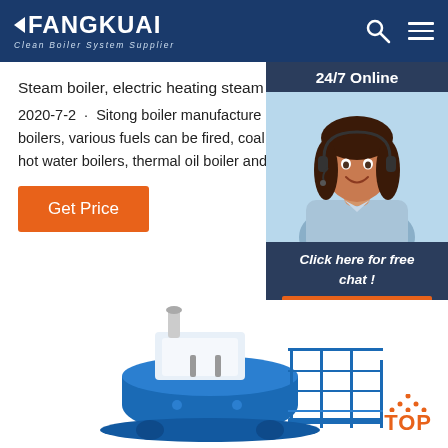FANGKUAI - Clean Boiler System Supplier
Steam boiler, electric heating steam boilers, hot water ...
2020-7-2 · Sitong boiler manufacture and export boilers, various fuels can be fired, coal biomass hot water boilers, thermal oil boiler and electric
Get Price
[Figure (photo): Customer service agent wearing a headset, smiling, with 24/7 Online banner and Click here for free chat / QUOTATION button overlay]
[Figure (illustration): Blue and white industrial boiler system illustration at the bottom of the page, with a TOP navigation button in orange on the right]